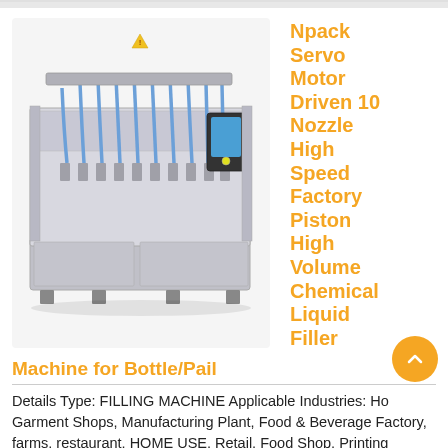[Figure (photo): Industrial filling machine — Npack Servo Motor Driven 10 Nozzle High Speed Factory Piston High Volume Chemical Liquid Filler. Stainless steel frame with multiple nozzles and a control panel on the right side.]
Npack Servo Motor Driven 10 Nozzle High Speed Factory Piston High Volume Chemical Liquid Filler Machine for Bottle/Pail
Details Type: FILLING MACHINE Applicable Industries: Ho Garment Shops, Manufacturing Plant, Food & Beverage Factory, farms, restaurant, HOME USE, Retail, Food Shop, Printing Shops, Energy & Mining, Food & Beverage Shops After Warranty Service: Video technical support, Online